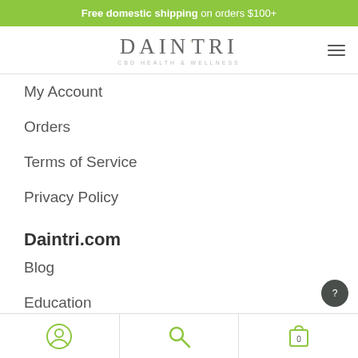Free domestic shipping on orders $100+
[Figure (logo): Daintri CBD Health & Wellness logo with green accent dot and hamburger menu icon]
My Account
Orders
Terms of Service
Privacy Policy
Daintri.com
Blog
Education
Shop All
Account | Search | Cart 0